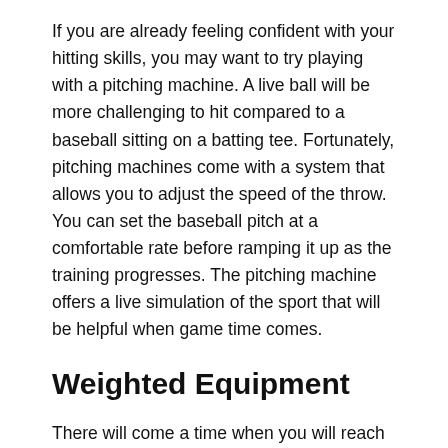If you are already feeling confident with your hitting skills, you may want to try playing with a pitching machine. A live ball will be more challenging to hit compared to a baseball sitting on a batting tee. Fortunately, pitching machines come with a system that allows you to adjust the speed of the throw. You can set the baseball pitch at a comfortable rate before ramping it up as the training progresses. The pitching machine offers a live simulation of the sport that will be helpful when game time comes.
Weighted Equipment
There will come a time when you will reach your maximum speed at hitting and throwing. However, you can still find ways to test your limits. Using